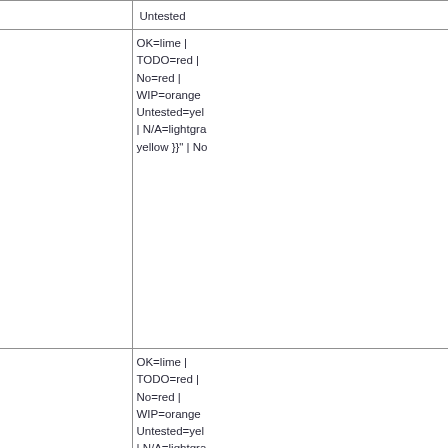| Feature | Status |
| --- | --- |
| Wake on LAN | OK=lime | TODO=red | No=red | WIP=orange | Untested=yellow | N/A=lightgray yellow }}" | No |
| Wake on keyboard | OK=lime | TODO=red | No=red | WIP=orange | Untested=yellow | N/A=lightgray yellow }}" | Untested |
| Wake on mouse | OK=lime | TODO=red | No=red | WIP=orange | Untested=yellow | N/A=lightgray yellow }}" | Untested |